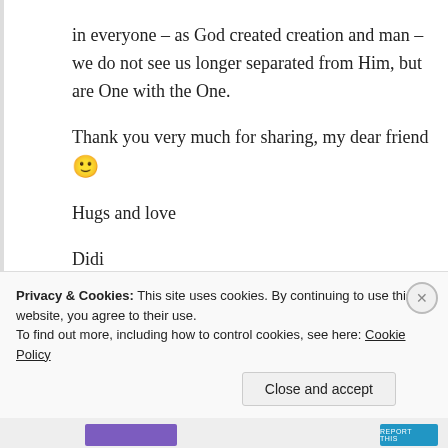in everyone – as God created creation and man – we do not see us longer separated from Him, but are One with the One.
Thank you very much for sharing, my dear friend 🙂
Hugs and love
Didi
★ Like
Log in to Reply
Privacy & Cookies: This site uses cookies. By continuing to use this website, you agree to their use.
To find out more, including how to control cookies, see here: Cookie Policy
Close and accept